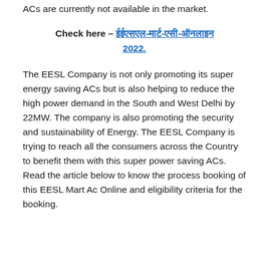ACs are currently not available in the market.
Check here – ईईएसएल-मार्ट-एसी-ऑनलाइन 2022.
The EESL Company is not only promoting its super energy saving ACs but is also helping to reduce the high power demand in the South and West Delhi by 22MW. The company is also promoting the security and sustainability of Energy. The EESL Company is trying to reach all the consumers across the Country to benefit them with this super power saving ACs. Read the article below to know the process booking of this EESL Mart Ac Online and eligibility criteria for the booking.